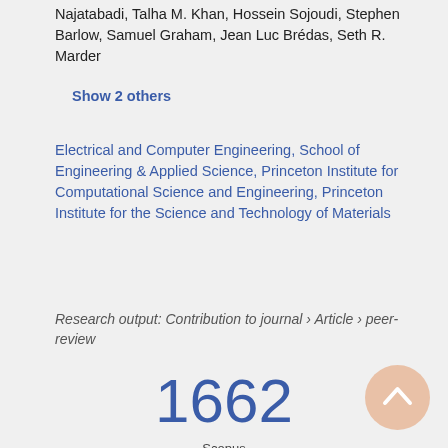Najatabadi, Talha M. Khan, Hossein Sojoudi, Stephen Barlow, Samuel Graham, Jean Luc Brédas, Seth R. Marder
Show 2 others
Electrical and Computer Engineering, School of Engineering & Applied Science, Princeton Institute for Computational Science and Engineering, Princeton Institute for the Science and Technology of Materials
Research output: Contribution to journal › Article › peer-review
1662
Scopus citations